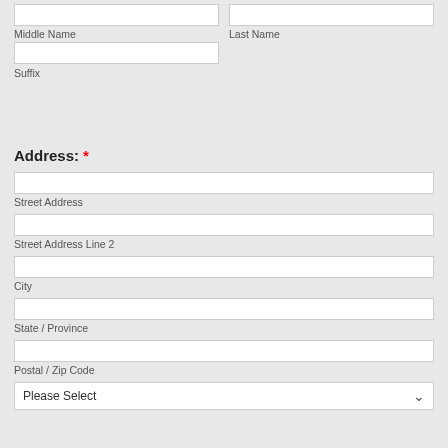Middle Name
Last Name
Suffix
Address: *
Street Address
Street Address Line 2
City
State / Province
Postal / Zip Code
Please Select